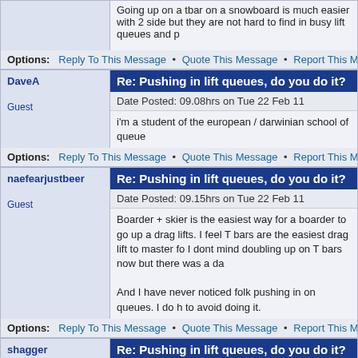Going up on a tbar on a snowboard is much easier with 2 side but they are not hard to find in busy lift queues and p
Options: Reply To This Message • Quote This Message • Report This Message
Re: Pushing in lift queues, do you do it?
DaveA
Date Posted: 09.08hrs on Tue 22 Feb 11
i'm a student of the european / darwinian school of queue
Guest
Options: Reply To This Message • Quote This Message • Report This Message
Re: Pushing in lift queues, do you do it?
naefearjustbeer
Date Posted: 09.15hrs on Tue 22 Feb 11
Boarder + skier is the easiest way for a boarder to go up a drag lifts. I feel T bars are the easiest drag lift to master fo I dont mind doubling up on T bars now but there was a da
And I have never noticed folk pushing in on queues. I do h to avoid doing it.
Guest
Options: Reply To This Message • Quote This Message • Report This Message
Re: Pushing in lift queues, do you do it?
shagger
Date Posted: 09.23hrs on Tue 22 Feb 11
Guest
DaveA Wrote:
i'm a student of the european / darwinian school of qu